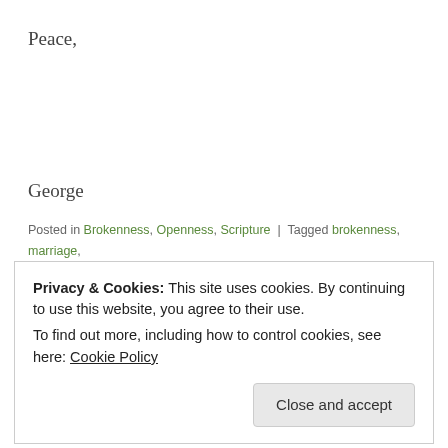Peace,
George
Posted in Brokenness, Openness, Scripture | Tagged brokenness, marriage, openness | 2 Comments
FEBRUARY 19, 2014
Privacy & Cookies: This site uses cookies. By continuing to use this website, you agree to their use.
To find out more, including how to control cookies, see here: Cookie Policy
Close and accept